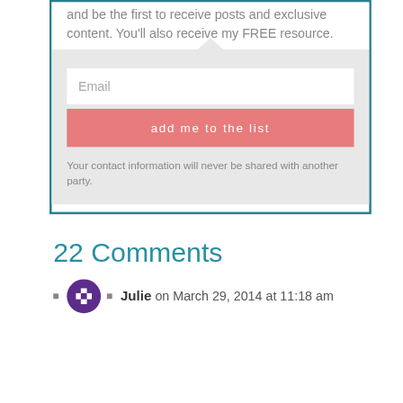and be the first to receive posts and exclusive content. You'll also receive my FREE resource.
[Figure (screenshot): Email signup form with a white email input field, a salmon/pink 'add me to the list' button, and privacy notice text on a light grey background inside a teal-bordered box]
Your contact information will never be shared with another party.
22 Comments
Julie on March 29, 2014 at 11:18 am